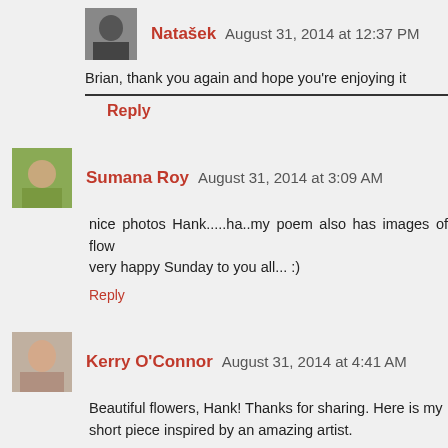Natašek  August 31, 2014 at 12:37 PM
Brian, thank you again and hope you're enjoying it
Reply
Sumana Roy  August 31, 2014 at 3:09 AM
nice photos Hank.....ha..my poem also has images of flow very happy Sunday to you all... :)
Reply
Kerry O'Connor  August 31, 2014 at 4:41 AM
Beautiful flowers, Hank! Thanks for sharing. Here is my short piece inspired by an amazing artist.
Reply